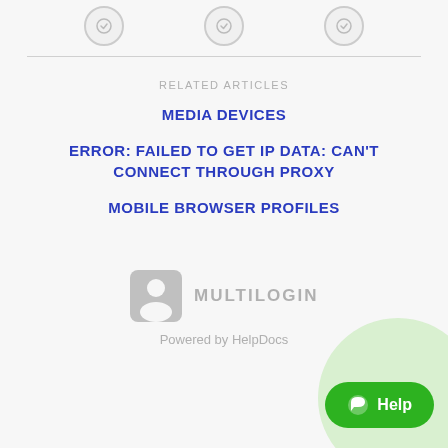[Figure (illustration): Three small circular icon buttons at top of page]
RELATED ARTICLES
MEDIA DEVICES
ERROR: FAILED TO GET IP DATA: CAN'T CONNECT THROUGH PROXY
MOBILE BROWSER PROFILES
[Figure (logo): Multilogin logo with person icon and text MULTILOGIN]
Powered by HelpDocs
[Figure (illustration): Green help chat button in bottom right corner]